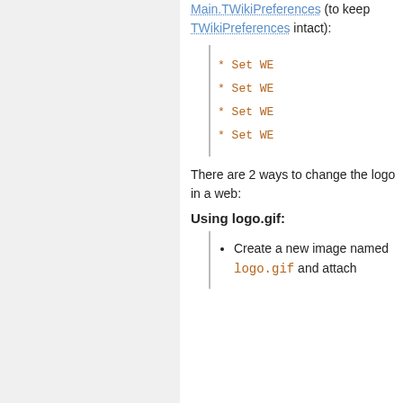Main.TWikiPreferences (to keep TWikiPreferences intact):
* Set WE
* Set WE
* Set WE
* Set WE
There are 2 ways to change the logo in a web:
Using logo.gif:
Create a new image named logo.gif and attach